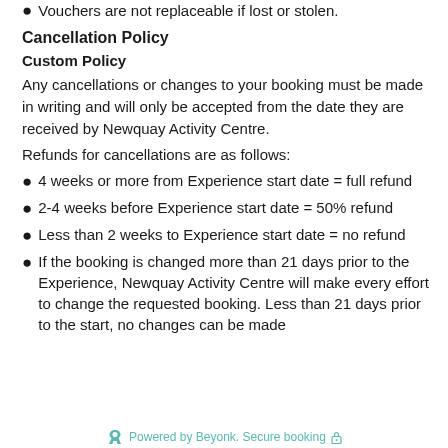Vouchers are not replaceable if lost or stolen.
Cancellation Policy
Custom Policy
Any cancellations or changes to your booking must be made in writing and will only be accepted from the date they are received by Newquay Activity Centre.
Refunds for cancellations are as follows:
4 weeks or more from Experience start date = full refund
2-4 weeks before Experience start date = 50% refund
Less than 2 weeks to Experience start date = no refund
If the booking is changed more than 21 days prior to the Experience, Newquay Activity Centre will make every effort to change the requested booking. Less than 21 days prior to the start, no changes can be made
Powered by Beyonk. Secure booking